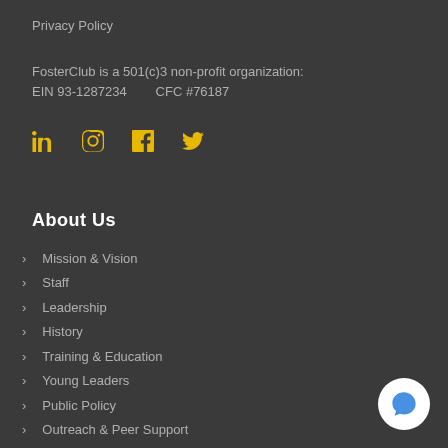Privacy Policy
FosterClub is a 501(c)3 non-profit organization:
EIN 93-1287234        CFC #76187
[Figure (infographic): Social media icons: LinkedIn, Instagram, Facebook, Twitter in yellow/gold color]
About Us
Mission & Vision
Staff
Leadership
History
Training & Education
Young Leaders
Public Policy
Outreach & Peer Support
Financials
Employment
Contact Us